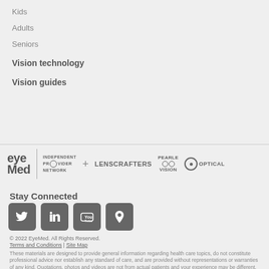Kids
Adults
Seniors
Vision technology
Vision guides
[Figure (logo): EyeMed logo with Independent Provider Network, LensCrafters, Pearle Vision, and Target Optical logos]
Stay Connected
[Figure (infographic): Social media icons: Twitter, LinkedIn, YouTube, Pinterest]
© 2022 EyeMed. All Rights Reserved.
Terms and Conditions | Site Map
These materials are designed to provide general information regarding health care topics, do not constitute professional advice nor establish any standard of care, and are provided without representations or warranties of any kind. Quotations, photos and videos are not from actual patients and your experience may be different. Your treating health care professionals are solely responsible for